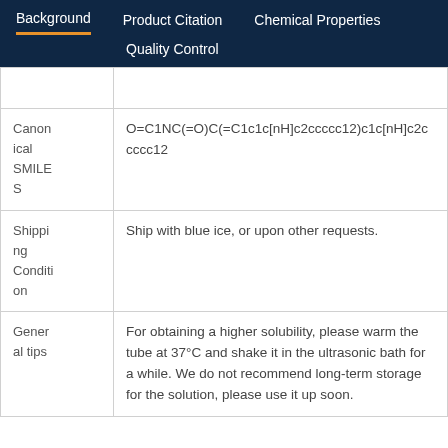Background | Product Citation | Chemical Properties | Quality Control
|  |  |
| --- | --- |
| Canonical SMILES | O=C1NC(=O)C(=C1c1c[nH]c2ccccc12)c1c[nH]c2ccccc12 |
| Shipping Condition | Ship with blue ice, or upon other requests. |
| General tips | For obtaining a higher solubility, please warm the tube at 37°C and shake it in the ultrasonic bath for a while. We do not recommend long-term storage for the solution, please use it up soon. |